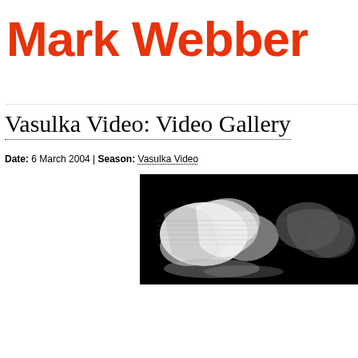Mark Webber
Vasulka Video: Video Gallery
Date: 6 March 2004 | Season: Vasulka Video
[Figure (photo): Black and white abstract video still image showing distorted figure-like shapes with high contrast lighting, part of Vasulka Video gallery]